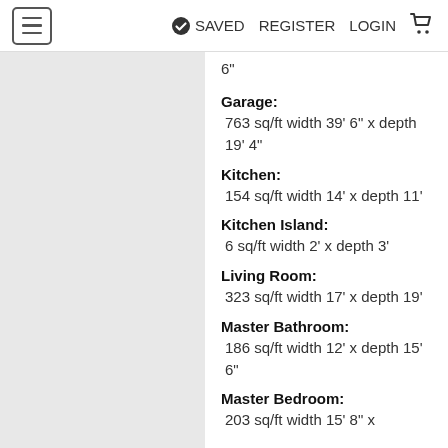≡  ✓ SAVED  REGISTER  LOGIN  🛒
6"
Garage:
763 sq/ft width 39' 6" x depth 19' 4"
Kitchen:
154 sq/ft width 14' x depth 11'
Kitchen Island:
6 sq/ft width 2' x depth 3'
Living Room:
323 sq/ft width 17' x depth 19'
Master Bathroom:
186 sq/ft width 12' x depth 15' 6"
Master Bedroom:
203 sq/ft width 15' 8" x